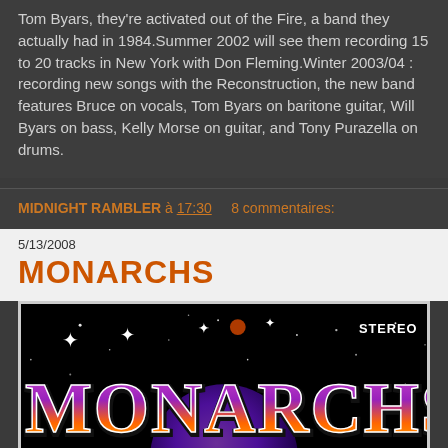Tom Byars, they're activated out of the Fire, a band they actually had in 1984.Summer 2002 will see them recording 15 to 20 tracks in New York with Don Fleming.Winter 2003/04 : recording new songs with the Reconstruction, the new band features Bruce on vocals, Tom Byars on baritone guitar, Will Byars on bass, Kelly Morse on guitar, and Tony Purazella on drums.
MIDNIGHT RAMBLER à 17:30    8 commentaires:
5/13/2008
MONARCHS
[Figure (illustration): Album cover art for MONARCHS with colorful retro-style lettering on a space/galaxy background with the word STEREO in top right corner]